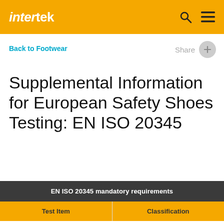intertek
Back to Footwear
Supplemental Information for European Safety Shoes Testing: EN ISO 20345
| EN ISO 20345 mandatory requirements |
| --- |
| Test Item | Classification |